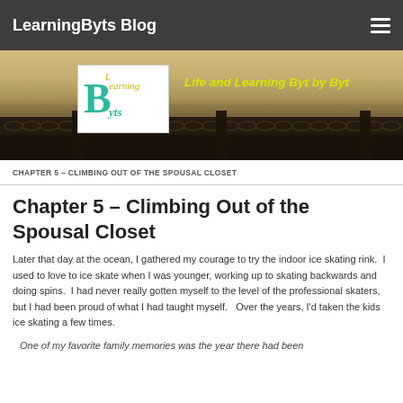LearningByts Blog
[Figure (photo): Website banner image showing a waterfront scene at dusk with chain fence in foreground, LearningByts logo on white box overlay, and yellow-green italic tagline 'Life and Learning Byt by Byt']
CHAPTER 5 – CLIMBING OUT OF THE SPOUSAL CLOSET
Chapter 5 – Climbing Out of the Spousal Closet
Later that day at the ocean, I gathered my courage to try the indoor ice skating rink.  I used to love to ice skate when I was younger, working up to skating backwards and doing spins.  I had never really gotten myself to the level of the professional skaters, but I had been proud of what I had taught myself.   Over the years, I'd taken the kids ice skating a few times.
One of my favorite family memories was the year there had been